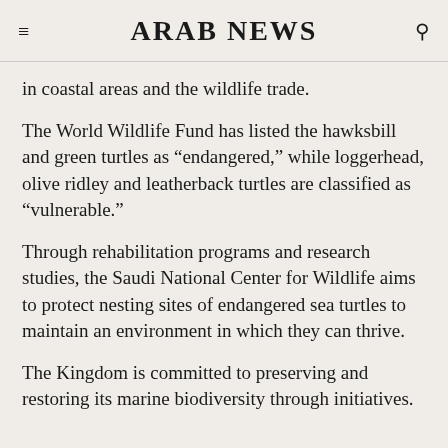ARAB NEWS
in coastal areas and the wildlife trade.
The World Wildlife Fund has listed the hawksbill and green turtles as “endangered,” while loggerhead, olive ridley and leatherback turtles are classified as “vulnerable.”
Through rehabilitation programs and research studies, the Saudi National Center for Wildlife aims to protect nesting sites of endangered sea turtles to maintain an environment in which they can thrive.
The Kingdom is committed to preserving and restoring its marine biodiversity through initiatives.